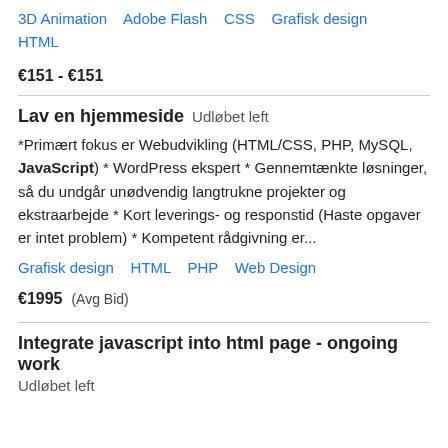3D Animation   Adobe Flash   CSS   Grafisk design   HTML
€151 - €151
Lav en hjemmeside   Udløbet left
*Primært fokus er Webudvikling (HTML/CSS, PHP, MySQL, JavaScript) * WordPress ekspert * Gennemtænkte løsninger, så du undgår unødvendig langtrukne projekter og ekstraarbejde * Kort leverings- og responstid (Haste opgaver er intet problem) * Kompetent rådgivning er...
Grafisk design   HTML   PHP   Web Design
€1995  (Avg Bid)
Integrate javascript into html page - ongoing work
Udløbet left